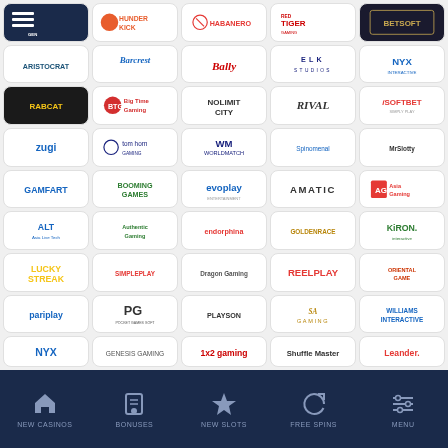[Figure (logo): Grid of casino software provider logos including Thunderkick, Habanero, Red Tiger, Betsoft, Aristocrat, Barcrest, Bally, ELK Studios, NYX Interactive, Rabcat, Big Time Gaming, Nolimit City, Rival, iSoftBet, Zugi, Tom Horn Gaming, WorldMatch, Spinomenal, Mr Slotty, GamArt, Booming Games, Evoplay, Amatic, Asia Gaming, Asia Live Tech, Authentic Gaming, Endorphina, GoldenRace, Kiron Interactive, Lucky Streak, SimplePlay, Dragon Gaming, ReelPlay, Oriental Game, Pariplay, Pocket Games Soft, Playson, SA Gaming, Williams Interactive, NYX Gaming Group, Genesis Gaming, 1x2 Gaming, Shuffle Master, Leander]
NEW CASINOS | BONUSES | NEW SLOTS | FREE SPINS | MENU